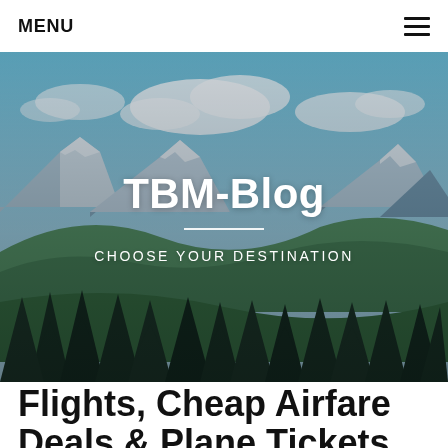MENU
[Figure (photo): Hero banner with mountain landscape — green forested hills, snow-capped mountains in background, blue sky with clouds, dark pine trees in foreground. Overlaid with 'TBM-Blog' title and 'CHOOSE YOUR DESTINATION' subtitle.]
Flights, Cheap Airfare Deals & Plane Tickets